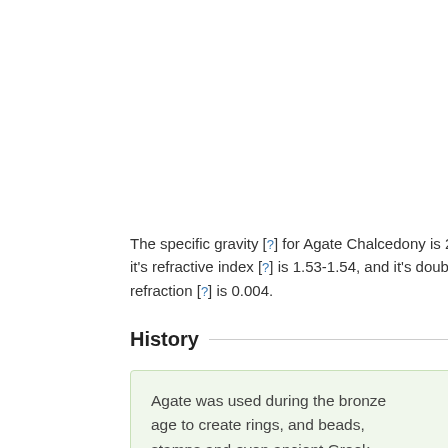The specific gravity [?] for Agate Chalcedony is 2.61, it's refractive index [?] is 1.53-1.54, and it's double refraction [?] is 0.004.
History
Agate was used during the bronze age to create rings, and beads, stamps and even ancient Greek seals. Beads of agate may have been used for bartering for thousands of years.